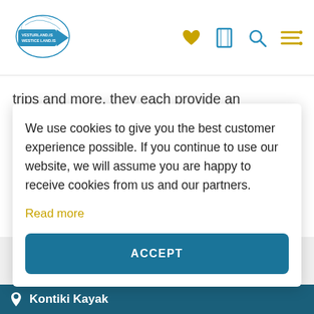[Figure (logo): Vesturland / WestIceland logo with map outline and arrow]
trips and more, they each provide an enjoyable and memorable experience.
We use cookies to give you the best customer experience possible. If you continue to use our website, we will assume you are happy to receive cookies from us and our partners.
Read more
ACCEPT
Kontiki Kayak